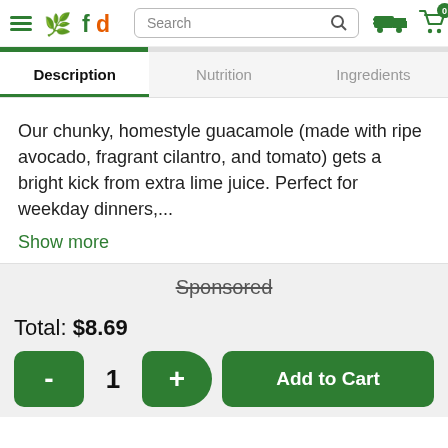fd Search [navigation icons]
Description | Nutrition | Ingredients
Our chunky, homestyle guacamole (made with ripe avocado, fragrant cilantro, and tomato) gets a bright kick from extra lime juice. Perfect for weekday dinners,...
Show more
Sponsored
Total: $8.69
- 1 + Add to Cart